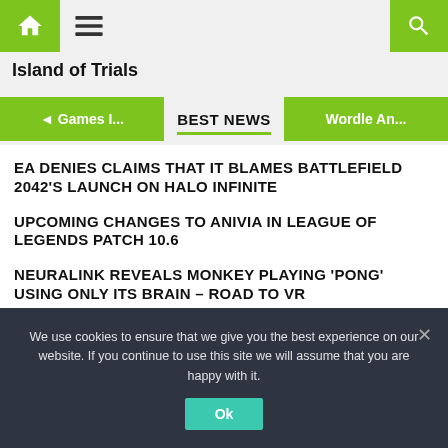Island of Trials — navigation bar with home icon, menu icon, search icon
Island of Trials
BEST NEWS
EA DENIES CLAIMS THAT IT BLAMES BATTLEFIELD 2042'S LAUNCH ON HALO INFINITE
UPCOMING CHANGES TO ANIVIA IN LEAGUE OF LEGENDS PATCH 10.6
NEURALINK REVEALS MONKEY PLAYING 'PONG' USING ONLY ITS BRAIN – ROAD TO VR
We use cookies to ensure that we give you the best experience on our website. If you continue to use this site we will assume that you are happy with it.